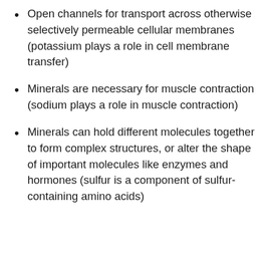Open channels for transport across otherwise selectively permeable cellular membranes (potassium plays a role in cell membrane transfer)
Minerals are necessary for muscle contraction (sodium plays a role in muscle contraction)
Minerals can hold different molecules together to form complex structures, or alter the shape of important molecules like enzymes and hormones (sulfur is a component of sulfur-containing amino acids)